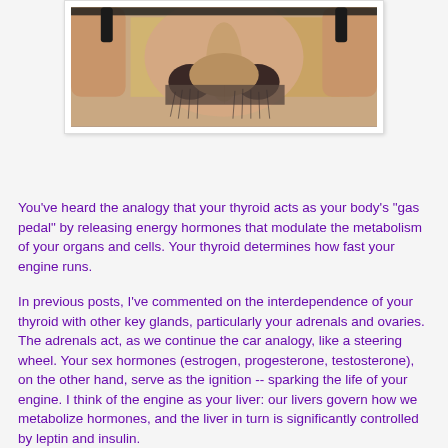[Figure (photo): Close-up photograph of a person's nose being held/examined, showing nostrils and surrounding facial area, possibly related to nasal or thyroid examination context.]
You've heard the analogy that your thyroid acts as your body's "gas pedal" by releasing energy hormones that modulate the metabolism of your organs and cells. Your thyroid determines how fast your engine runs.
In previous posts, I've commented on the interdependence of your thyroid with other key glands, particularly your adrenals and ovaries. The adrenals act, as we continue the car analogy, like a steering wheel. Your sex hormones (estrogen, progesterone, testosterone), on the other hand, serve as the ignition -- sparking the life of your engine. I think of the engine as your liver: our livers govern how we metabolize hormones, and the liver in turn is significantly controlled by leptin and insulin.